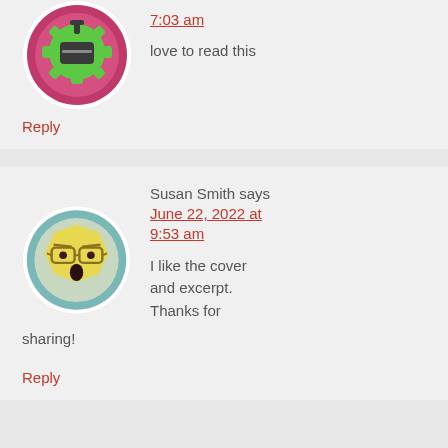[Figure (illustration): Green robot/gear face avatar in circular frame with pink/magenta background]
7:03 am
love to read this
Reply
[Figure (illustration): Yellow octagon face emoji with glasses and surprised expression on teal circular background]
Susan Smith says
June 22, 2022 at 9:53 am
I like the cover and excerpt. Thanks for sharing!
Reply